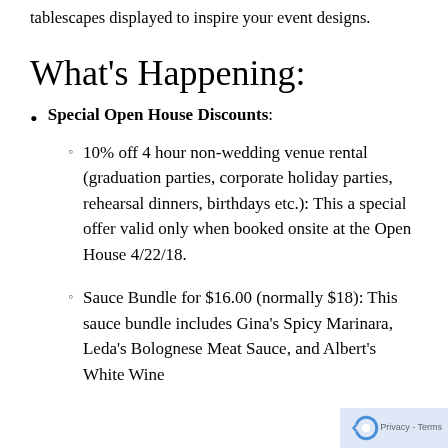tablescapes displayed to inspire your event designs.
What's Happening:
Special Open House Discounts:
10% off 4 hour non-wedding venue rental (graduation parties, corporate holiday parties, rehearsal dinners, birthdays etc.): This a special offer valid only when booked onsite at the Open House 4/22/18.
Sauce Bundle for $16.00 (normally $18): This sauce bundle includes Gina's Spicy Marinara, Leda's Bolognese Meat Sauce, and Albert's White Wine